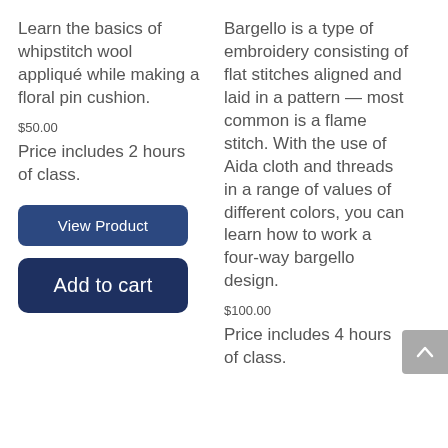Learn the basics of whipstitch wool appliqué while making a floral pin cushion.
$50.00
Price includes 2 hours of class.
View Product
Add to cart
Bargello is a type of embroidery consisting of flat stitches aligned and laid in a pattern — most common is a flame stitch. With the use of Aida cloth and threads in a range of values of different colors, you can learn how to work a four-way bargello design.
$100.00
Price includes 4 hours of class.